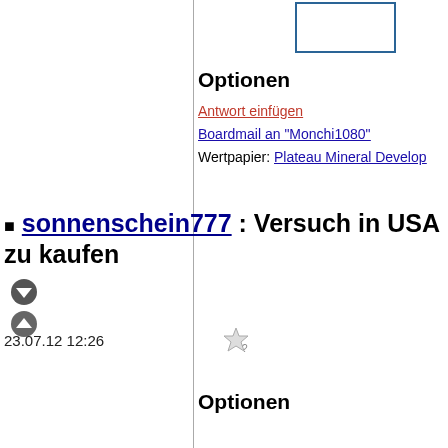[Figure (other): Partial box/rectangle outline in blue, top-right area]
Optionen
Antwort einfügen
Boardmail an "Monchi1080"
Wertpapier: Plateau Mineral Develop
sonnenschein777 : Versuch in USA zu kaufen
[Figure (other): Two circular arrow buttons (down and up)]
23.07.12 12:26
[Figure (other): Star/rating icon]
Optionen